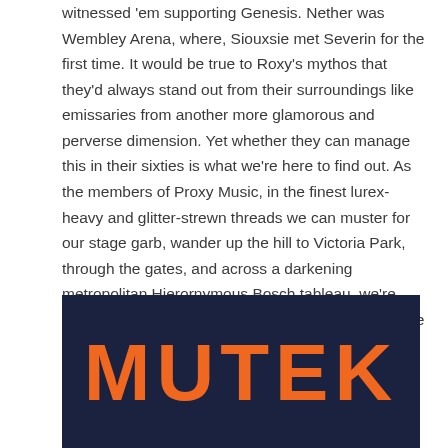witnessed 'em supporting Genesis. Nether was Wembley Arena, where, Siouxsie met Severin for the first time. It would be true to Roxy's mythos that they'd always stand out from their surroundings like emissaries from another more glamorous and perverse dimension. Yet whether they can manage this in their sixties is what we're here to find out. As the members of Proxy Music, in the finest lurex-heavy and glitter-strewn threads we can muster for our stage garb, wander up the hill to Victoria Park, through the gates, and across a darkening metropolitan Hierornymous Bosch tableau, we're magnetically drawn to the same band that's done the same for freaks and outsiders through the ages and beyond, a band we've even spent more hours than we care to remember rendering ourselves in the image of.
[Figure (logo): MUTEK logo in large bold orange pixelated/digital-style font on a dark navy blue background]